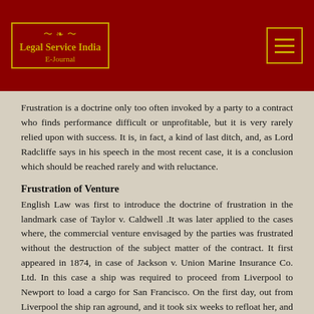[Figure (logo): Legal Service India E-Journal logo in gold on dark red background with decorative border]
Frustration is a doctrine only too often invoked by a party to a contract who finds performance difficult or unprofitable, but it is very rarely relied upon with success. It is, in fact, a kind of last ditch, and, as Lord Radcliffe says in his speech in the most recent case, it is a conclusion which should be reached rarely and with reluctance.
Frustration of Venture
English Law was first to introduce the doctrine of frustration in the landmark case of Taylor v. Caldwell .It was later applied to the cases where, the commercial venture envisaged by the parties was frustrated without the destruction of the subject matter of the contract. It first appeared in 1874, in case of Jackson v. Union Marine Insurance Co. Ltd. In this case a ship was required to proceed from Liverpool to Newport to load a cargo for San Francisco. On the first day, out from Liverpool the ship ran aground, and it took six weeks to refloat her, and another six months to complete repairs.